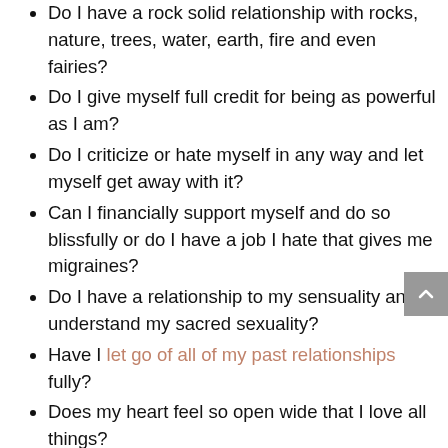Do I have a rock solid relationship with rocks, nature, trees, water, earth, fire and even fairies?
Do I give myself full credit for being as powerful as I am?
Do I criticize or hate myself in any way and let myself get away with it?
Can I financially support myself and do so blissfully or do I have a job I hate that gives me migraines?
Do I have a relationship to my sensuality and understand my sacred sexuality?
Have I let go of all of my past relationships fully?
Does my heart feel so open wide that I love all things?
Do I have a huge dose of unconditional